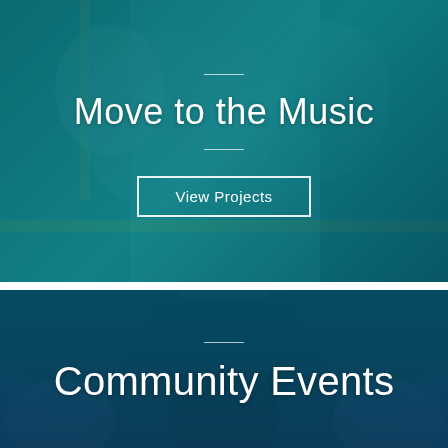[Figure (photo): Elderly people smiling and laughing on a bus, with teal/blue-green color overlay, with the text 'Move to the Music' and a 'View Projects' button centered on the image.]
Move to the Music
View Projects
[Figure (photo): Interior aisle of a bus/coach at night with blue/purple seat lighting, with a deep teal overlay, and 'Community Events' text centered at the bottom.]
Community Events